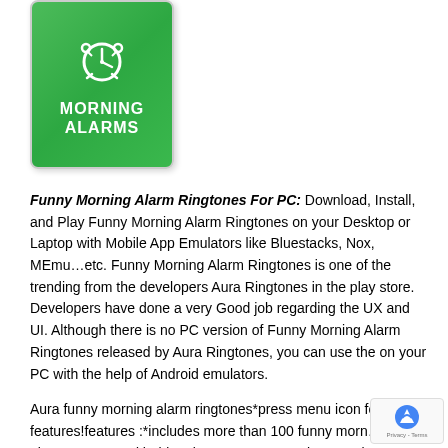[Figure (illustration): Green app icon with alarm clock symbol and text MORNING ALARMS on a green gradient background with rounded corners]
Funny Morning Alarm Ringtones For PC: Download, Install, and Play Funny Morning Alarm Ringtones on your Desktop or Laptop with Mobile App Emulators like Bluestacks, Nox, MEmu…etc. Funny Morning Alarm Ringtones is one of the trending from the developers Aura Ringtones in the play store. Developers have done a very Good job regarding the UX and UI. Although there is no PC version of Funny Morning Alarm Ringtones released by Aura Ringtones, you can use the on your PC with the help of Android emulators.
Aura funny morning alarm ringtones*press menu icon for features!features :*includes more than 100 funny morning alarms*press and hold on icon*easy to use ui*set as ringtone, notification, alarm and assign to contacts.Enjoy these funny